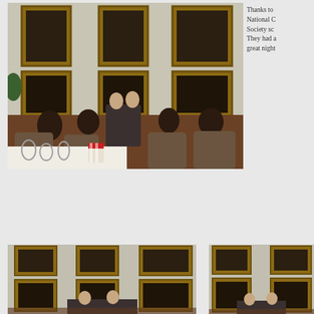[Figure (photo): Indoor event photo showing a formal room with gold-framed portrait paintings on walls. Audience seated in upholstered chairs facing two speakers seated at the front. Foreground shows glasses and popcorn on a table with white tablecloth. Ornate patterned carpet visible.]
Thanks to National C Society sc They had a great night
[Figure (photo): Photo of same formal room with gold-framed portrait paintings. Two speakers visible at front, audience members seated.]
[Figure (photo): Photo of same formal room with gold-framed portrait paintings. Partial view similar to adjacent photo.]